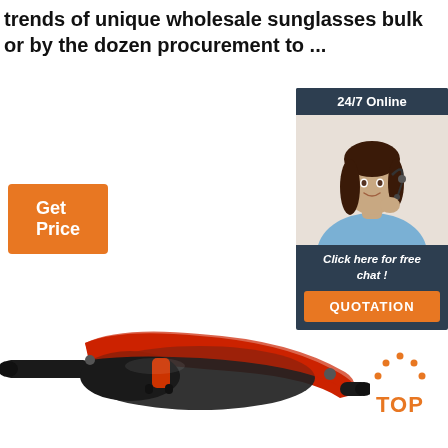trends of unique wholesale sunglasses bulk or by the dozen procurement to ...
[Figure (other): Orange 'Get Price' button]
[Figure (other): 24/7 Online chat widget with customer service representative photo, 'Click here for free chat!' text, and orange QUOTATION button]
[Figure (photo): Red and black sport sunglasses shown from the side]
[Figure (other): Orange TOP badge with dots icon]